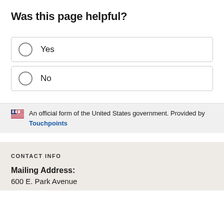Was this page helpful?
Yes
No
An official form of the United States government. Provided by Touchpoints
CONTACT INFO
Mailing Address:
600 E. Park Avenue